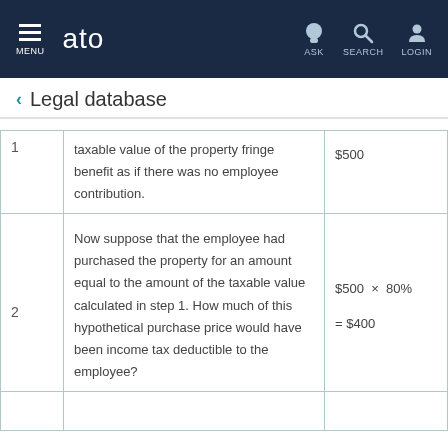MENU | ato | ASK | SEARCH | LOGIN
Legal database
|  | Description | Value |
| --- | --- | --- |
| 1 | taxable value of the property fringe benefit as if there was no employee contribution. | $500 |
| 2 | Now suppose that the employee had purchased the property for an amount equal to the amount of the taxable value calculated in step 1. How much of this hypothetical purchase price would have been income tax deductible to the employee? | $500 × 80% = $400 |